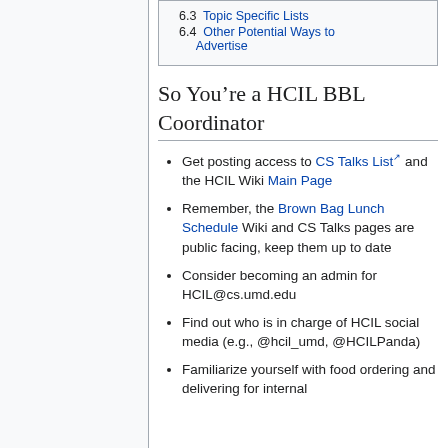6.3 Topic Specific Lists
6.4 Other Potential Ways to Advertise
So You’re a HCIL BBL Coordinator
Get posting access to CS Talks List and the HCIL Wiki Main Page
Remember, the Brown Bag Lunch Schedule Wiki and CS Talks pages are public facing, keep them up to date
Consider becoming an admin for HCIL@cs.umd.edu
Find out who is in charge of HCIL social media (e.g., @hcil_umd, @HCILPanda)
Familiarize yourself with food ordering and delivering for internal